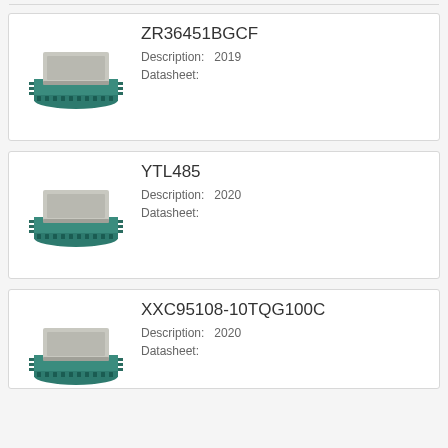[Figure (photo): Chip/IC component image for ZR36451BGCF]
ZR36451BGCF
Description: 2019
Datasheet:
[Figure (photo): Chip/IC component image for YTL485]
YTL485
Description: 2020
Datasheet:
[Figure (photo): Chip/IC component image for XXC95108-10TQG100C]
XXC95108-10TQG100C
Description: 2020
Datasheet: